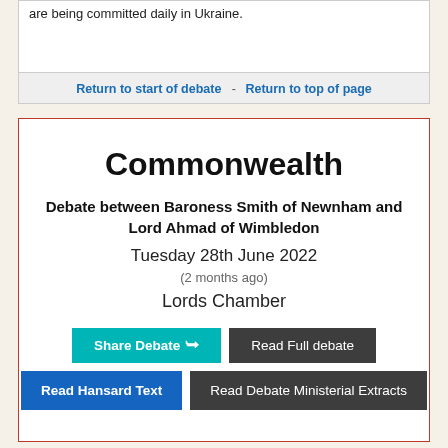are being committed daily in Ukraine.
Return to start of debate - Return to top of page
Commonwealth
Debate between Baroness Smith of Newnham and Lord Ahmad of Wimbledon
Tuesday 28th June 2022
(2 months ago)
Lords Chamber
Share Debate  Read Full debate
Read Hansard Text  Read Debate Ministerial Extracts